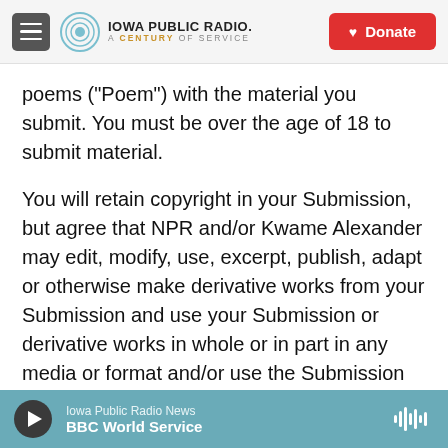Iowa Public Radio. A Century of Service. Donate
poems ("Poem") with the material you submit. You must be over the age of 18 to submit material.
You will retain copyright in your Submission, but agree that NPR and/or Kwame Alexander may edit, modify, use, excerpt, publish, adapt or otherwise make derivative works from your Submission and use your Submission or derivative works in whole or in part in any media or format and/or use the Submission or Poem for journalistic and/or promotional purposes generally, and may allow others to do so. You understand that the Poem created by Kwame Alexander will be a new creative
Iowa Public Radio News
BBC World Service